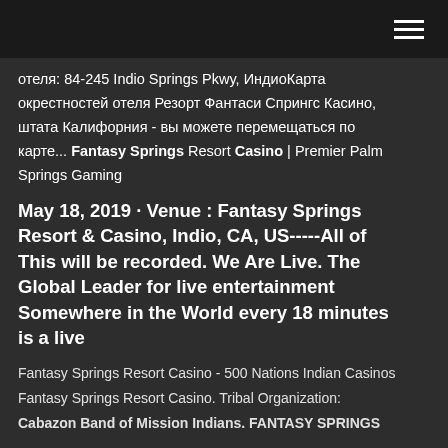[hamburger menu icon]
отеля: 84-245 Indio Springs Pkwy, ИндиоКарта окрестностей отеля Резорт Фантаси Спрингс Касино, штата Калифорния - вы можете перемещаться по карте... Fantasy Springs Resort Casino | Premier Palm Springs Gaming
May 18, 2019 · Venue : Fantasy Springs Resort & Casino, Indio, CA, US-----All of This will be recorded. We Are Live. The Global Leader for live entertainment Somewhere in the World every 18 minutes is a live
Fantasy Springs Resort Casino - 500 Nations Indian Casinos
Fantasy Springs Resort Casino. Tribal Organization:
Cabazon Band of Mission Indians. FANTASY SPRINGS